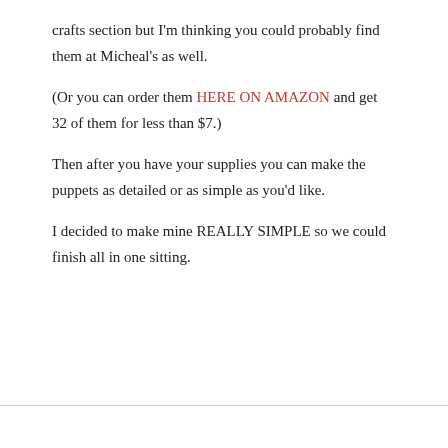crafts section but I'm thinking you could probably find them at Micheal's as well.
(Or you can order them HERE ON AMAZON and get 32 of them for less than $7.)
Then after you have your supplies you can make the puppets as detailed or as simple as you'd like.
I decided to make mine REALLY SIMPLE so we could finish all in one sitting.